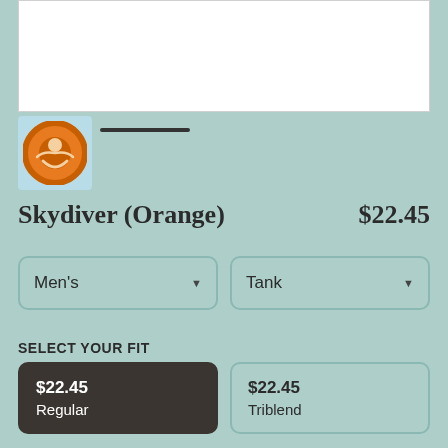[Figure (photo): White product image area at top of page]
[Figure (logo): Orange circular brand logo with skydiver character on light blue background square]
Skydiver (Orange)   $22.45
Men's
Tank
SELECT YOUR FIT
$22.45
Regular
$22.45
Triblend